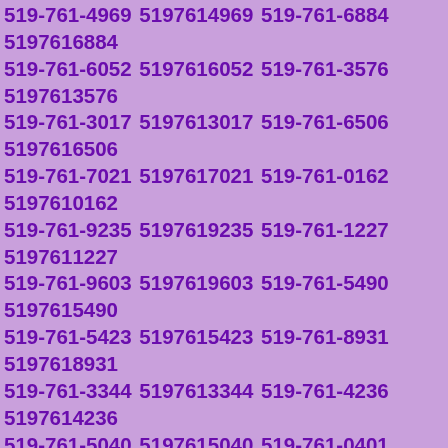519-761-4969 5197614969 519-761-6884 5197616884 519-761-6052 5197616052 519-761-3576 5197613576 519-761-3017 5197613017 519-761-6506 5197616506 519-761-7021 5197617021 519-761-0162 5197610162 519-761-9235 5197619235 519-761-1227 5197611227 519-761-9603 5197619603 519-761-5490 5197615490 519-761-5423 5197615423 519-761-8931 5197618931 519-761-3344 5197613344 519-761-4236 5197614236 519-761-5040 5197615040 519-761-0401 5197610401 519-761-6017 5197616017 519-761-6558 5197616558 519-761-4035 5197614035 519-761-8386 5197618386 519-761-5724 5197615724 519-761-5131 5197615131 519-761-8422 5197618422 519-761-5122 5197615122 519-761-1641 5197611641 519-761-8444 5197618444 519-761-3905 5197613905 519-761-8113 5197618113 519-761-6879 5197616879 519-761-8245 5197618245 519-761-5703 5197615703 519-761-7110 5197617110 519-761-5202 5197615202 519-761-9723 5197619723 519-761-9064 5197619064 519-761-6830 5197616830 519-761-7152 5197617152 519-761-2821 5197612821 519-761-3793 5197613793 519-761-9709 5197619709